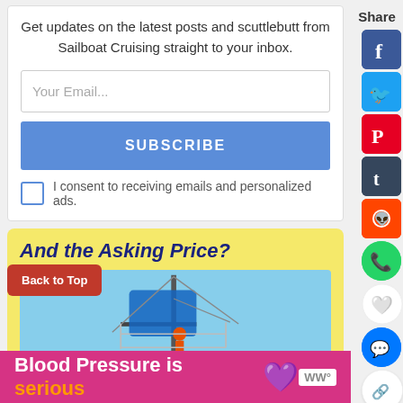Get updates on the latest posts and scuttlebutt from Sailboat Cruising straight to your inbox.
[Figure (screenshot): Email input field with placeholder 'Your Email...']
[Figure (screenshot): Blue SUBSCRIBE button]
I consent to receiving emails and personalized ads.
And the Asking Price?
[Figure (photo): Sailboat mast and rigging against blue sky]
[Figure (screenshot): Back to Top button in red]
Blood Pressure is serious
[Figure (screenshot): Social share sidebar with Facebook, Twitter, Pinterest, Tumblr, Reddit, WhatsApp, Like, Messenger, Share icons]